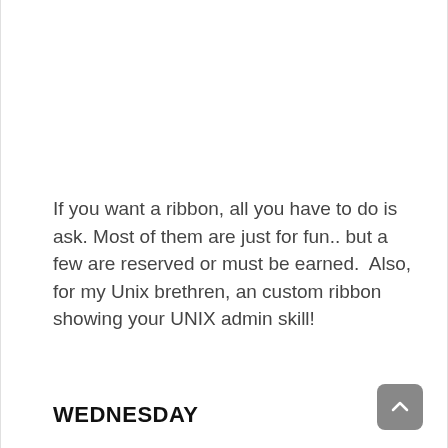If you want a ribbon, all you have to do is ask. Most of them are just for fun.. but a few are reserved or must be earned.  Also, for my Unix brethren, an custom ribbon showing your UNIX admin skill!
WEDNESDAY